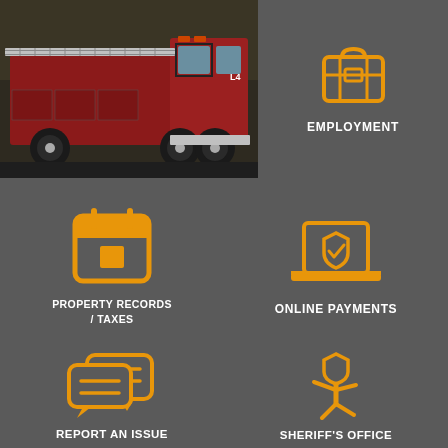[Figure (photo): Fire truck / ladder truck parked, red vehicle, daytime outdoor setting]
[Figure (illustration): Orange briefcase icon representing Employment]
EMPLOYMENT
[Figure (illustration): Orange calendar icon representing Property Records / Taxes]
PROPERTY RECORDS / TAXES
[Figure (illustration): Orange laptop with shield/checkmark icon representing Online Payments]
ONLINE PAYMENTS
[Figure (illustration): Orange speech bubbles / chat icon representing Report an Issue]
REPORT AN ISSUE
[Figure (illustration): Orange police officer icon representing Sheriff's Office]
SHERIFF'S OFFICE